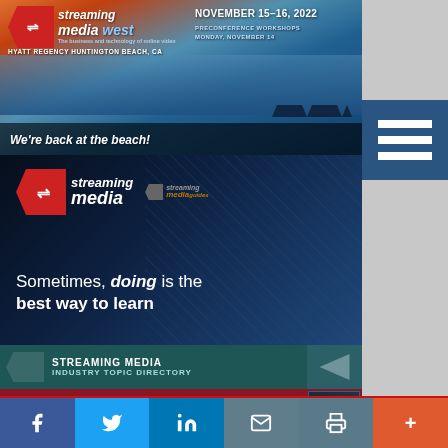[Figure (photo): Streaming Media West banner ad - November 15-16 2022, Hyatt Regency Huntington Beach CA, beach sunset background with text 'We're back at the beach!']
[Figure (photo): Streaming Media guides banner - 'Sometimes, doing is the best way to learn' on dark blue background]
[Figure (photo): Streaming Media Industry Topic Directory banner - Content Delivery Networks, connecting you to premium vendors]
[Figure (photo): Streaming Media guides encoding banner - 'Encoding is the foundation of the...' on purple background]
[Figure (infographic): Hamburger menu icon - three white bars on dark blue background]
Social sharing bar with Facebook, Twitter, LinkedIn, Email, Print, and More buttons